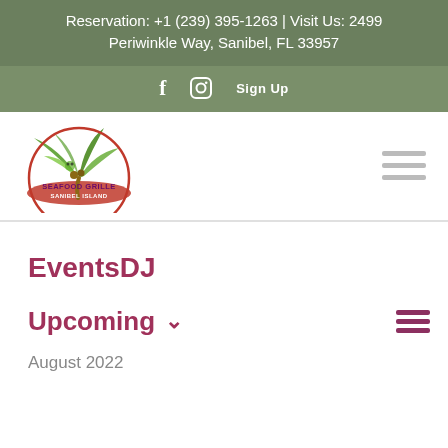Reservation: +1 (239) 395-1263 | Visit Us: 2499 Periwinkle Way, Sanibel, FL 33957
f   [Instagram icon]   Sign Up
[Figure (logo): Sanibel Island Seafood Grille logo with tropical palm tree illustration and circular red banner]
EventsDJ
Upcoming ∨
August 2022